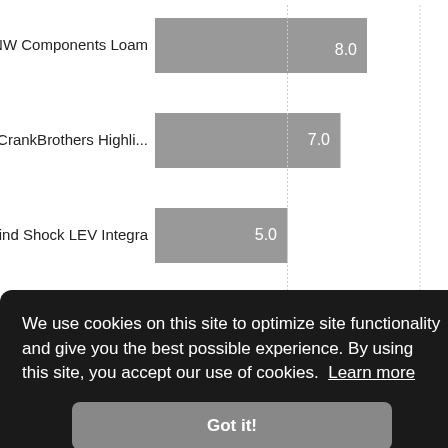[Figure (bar-chart): ]
We use cookies on this site to optimize site functionality and give you the best possible experience. By using this site, you accept our use of cookies. Learn more
Got it!
ninum ebar a clean les, extra
traction for the thinner. The Piggy also has two holes for